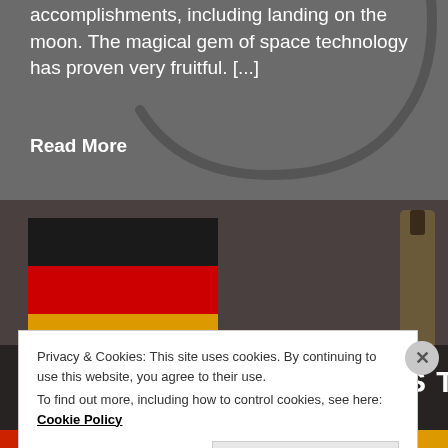accomplishments, including landing on the moon. The magical gem of space technology has proven very fruitful. [...]
Read More
[Figure (photo): Article image showing German flag and rocket, with bold white uppercase title overlay reading FROM GERMAN TUNNELS TO SPACE, PART 2]
Privacy & Cookies: This site uses cookies. By continuing to use this website, you agree to their use.
To find out more, including how to control cookies, see here: Cookie Policy
Close and accept